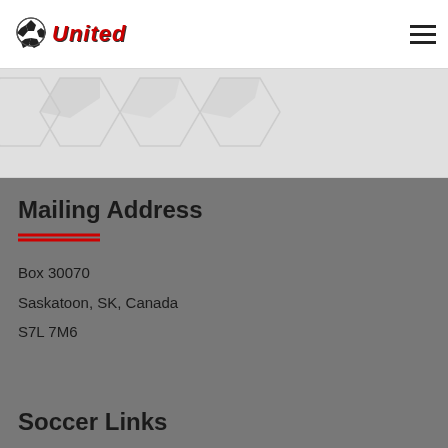[Figure (logo): United soccer club logo with soccer ball and red italic 'United' text]
[Figure (photo): Soccer ball pattern hero banner image in light gray tones]
Mailing Address
Box 30070
Saskatoon, SK, Canada
S7L 7M6
Soccer Links